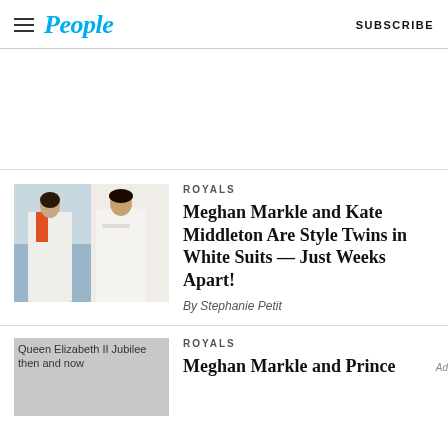People | SUBSCRIBE
[Figure (photo): Two women in white suits side by side — Kate Middleton and Meghan Markle]
ROYALS
Meghan Markle and Kate Middleton Are Style Twins in White Suits — Just Weeks Apart!
By Stephanie Petit
[Figure (photo): Queen Elizabeth II Jubilee then and now — partially cropped image]
ROYALS
Meghan Markle and Prince